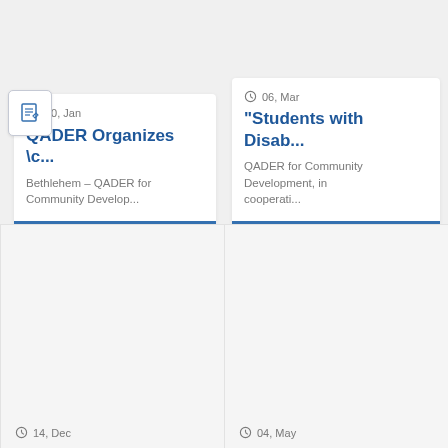[Figure (screenshot): Card with date 30, Jan, title 'QADER Organizes c...', text 'Bethlehem – QADER for Community Develop...' with a notebook icon overlay]
[Figure (screenshot): Card with date 06, Mar, title '"Students with Disab...', text 'QADER for Community Development, in cooperati...']
[Figure (screenshot): Card placeholder with date 14, Dec at the bottom]
[Figure (screenshot): Card placeholder with date 04, May at the bottom]